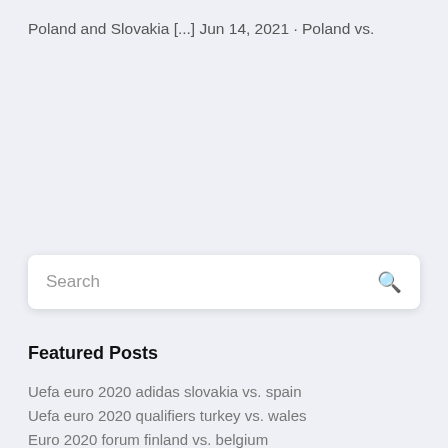Poland and Slovakia [...] Jun 14, 2021 · Poland vs.
Featured Posts
Uefa euro 2020 adidas slovakia vs. spain
Uefa euro 2020 qualifiers turkey vs. wales
Euro 2020 forum finland vs. belgium